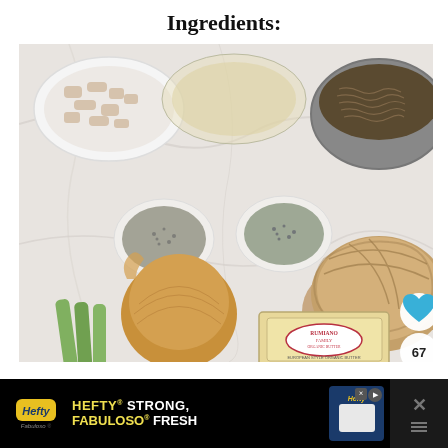Ingredients:
[Figure (photo): Overhead flat-lay of recipe ingredients on marble surface: diced cooked chicken in a white bowl, a glass bowl of broth/liquid, a pot of cooked pasta or noodles, two small bowls of spices/herbs, a yellow onion, two brown eggs, stalks of celery, a stick of Rumiano European Style Organic Butter, and a rustic sourdough bread loaf. A teal heart icon button and a white circle showing '67' are overlaid at the lower right.]
[Figure (screenshot): Hefty advertisement banner. Black background. Left side shows Hefty and Fabuloso logos. Center text reads 'HEFTY® STRONG, FABULOSO® FRESH' in large bold yellow and white letters. Right side shows a Hefty product image and a close X button.]